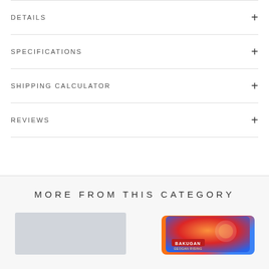DETAILS
SPECIFICATIONS
SHIPPING CALCULATOR
REVIEWS
MORE FROM THIS CATEGORY
[Figure (photo): Product image placeholder on the left, partially visible]
[Figure (photo): Bakugan Geogan Rising product box, partially visible at bottom right]